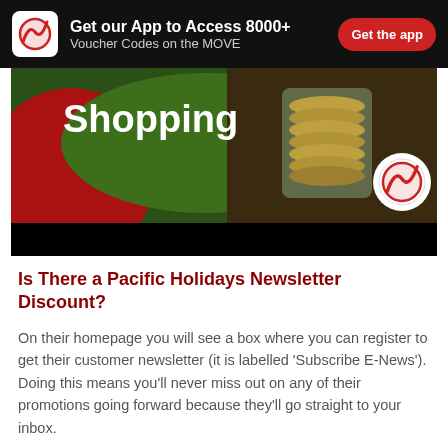Get our App to Access 8000+ Voucher Codes on the MOVE | Get the app
[Figure (illustration): Shopping banner image with green background, red circle, bold white 'Shopping' text, and coins/money photo on the right side with a logo badge]
Is There a Pacific Holidays Newsletter Discount?
On their homepage you will see a box where you can register to get their customer newsletter (it is labelled 'Subscribe E-News'). Doing this means you'll never miss out on any of their promotions going forward because they'll go straight to your inbox.
Are There Any Pacific Holidays Secret